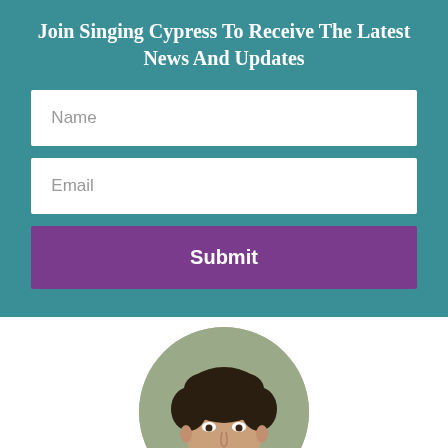Join Singing Cypress To Receive The Latest News And Updates
Name
Email
Submit
[Figure (photo): Circular portrait photo of a man with curly dark hair, cropped at the shoulders, shown from roughly chin-level up against a blurred outdoor background.]